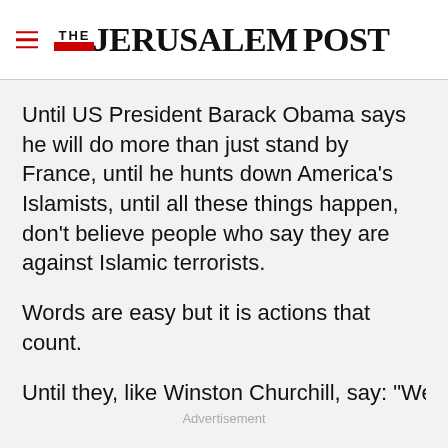THE JERUSALEM POST
Until US President Barack Obama says he will do more than just stand by France, until he hunts down America’s Islamists, until all these things happen, don’t believe people who say they are against Islamic terrorists.
Words are easy but it is actions that count.
Until they, like Winston Churchill, say: “We shall
Advertisement